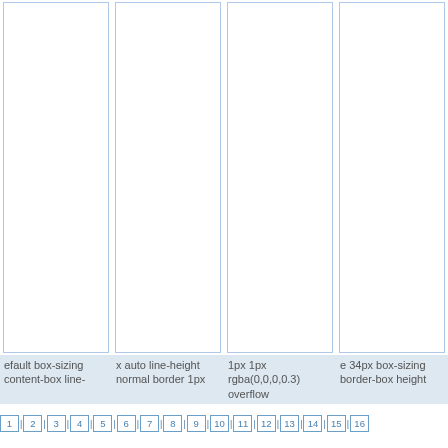[Figure (other): Four tall white rectangular column boxes with light blue borders arranged side by side]
efault box-sizing content-box line-
x auto line-height normal border 1px
1px 1px rgba(0,0,0,0.3) overflow
e 34px box-sizing border-box height
1 2 3 4 5 6 7 8 9 10 11 12 13 14 15 16